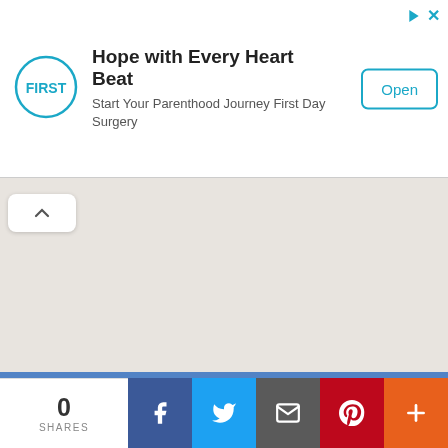[Figure (screenshot): Advertisement banner: FIRST logo circle with teal outline, headline 'Hope with Every Heart Beat', subtitle 'Start Your Parenthood Journey First Day Surgery', and an 'Open' button with teal border. Top-right has teal ad icons.]
[Figure (map): Light beige/gray map area with a white collapse button (chevron up) in the top-left corner.]
This website uses cookies to ensure you get the best experience on our website. Learn more
[Figure (screenshot): Social sharing bar at the bottom: '0 SHARES' on white, then Facebook (dark blue), Twitter (light blue), Email (dark gray), Pinterest (red), More (orange) buttons with white icons.]